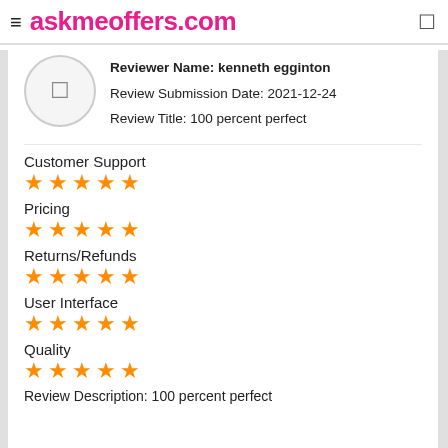≡ askmeoffers.com
Reviewer Name: kenneth egginton
Review Submission Date: 2021-12-24
Review Title: 100 percent perfect
Customer Support
[Figure (other): 5 orange stars rating for Customer Support]
Pricing
[Figure (other): 5 orange stars rating for Pricing]
Returns/Refunds
[Figure (other): 5 orange stars rating for Returns/Refunds]
User Interface
[Figure (other): 5 orange stars rating for User Interface]
Quality
[Figure (other): 5 orange stars rating for Quality]
Review Description: 100 percent perfect